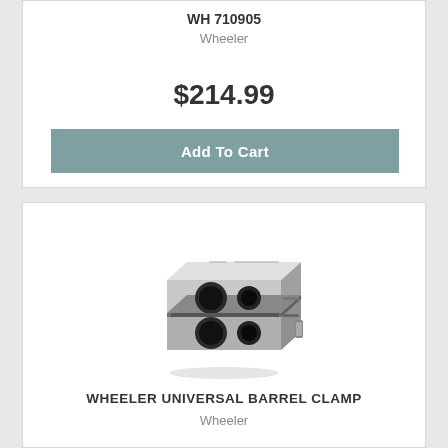WH 710905
Wheeler
$214.99
Add To Cart
[Figure (photo): Photo of Wheeler Universal Barrel Clamp - a metallic silver rectangular clamp block with two circular holes visible on the front face]
WHEELER UNIVERSAL BARREL CLAMP
Wheeler